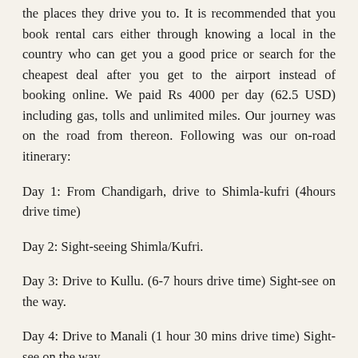the places they drive you to. It is recommended that you book rental cars either through knowing a local in the country who can get you a good price or search for the cheapest deal after you get to the airport instead of booking online. We paid Rs 4000 per day (62.5 USD) including gas, tolls and unlimited miles. Our journey was on the road from thereon. Following was our on-road itinerary:
Day 1: From Chandigarh, drive to Shimla-kufri (4hours drive time)
Day 2: Sight-seeing Shimla/Kufri.
Day 3: Drive to Kullu. (6-7 hours drive time) Sight-see on the way.
Day 4: Drive to Manali (1 hour 30 mins drive time) Sight-see on the way